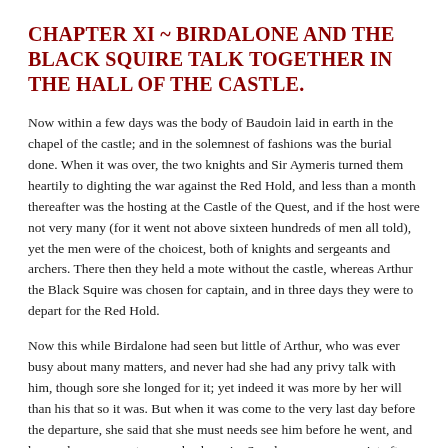CHAPTER XI ~ BIRDALONE AND THE BLACK SQUIRE TALK TOGETHER IN THE HALL OF THE CASTLE.
Now within a few days was the body of Baudoin laid in earth in the chapel of the castle; and in the solemnest of fashions was the burial done. When it was over, the two knights and Sir Aymeris turned them heartily to dighting the war against the Red Hold, and less than a month thereafter was the hosting at the Castle of the Quest, and if the host were not very many (for it went not above sixteen hundreds of men all told), yet the men were of the choicest, both of knights and sergeants and archers. There then they held a mote without the castle, whereas Arthur the Black Squire was chosen for captain, and in three days they were to depart for the Red Hold.
Now this while Birdalone had seen but little of Arthur, who was ever busy about many matters, and never had she had any privy talk with him, though sore she longed for it; yet indeed it was more by her will than his that so it was. But when it was come to the very last day before the departure, she said that she must needs see him before he went, and he perchance never to come back again. So when men were quiet after